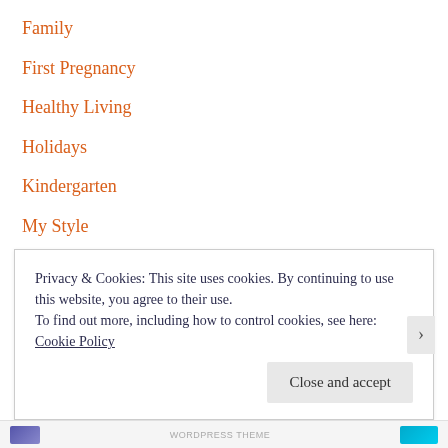Family
First Pregnancy
Healthy Living
Holidays
Kindergarten
My Style
New Baby
New baby, new infant, 42 weeks post due, rcsec, second pregnancy
preschooler
Product Review
Privacy & Cookies: This site uses cookies. By continuing to use this website, you agree to their use.
To find out more, including how to control cookies, see here: Cookie Policy
Close and accept